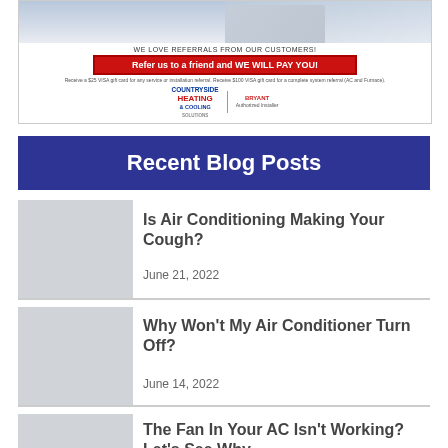[Figure (infographic): Heating and cooling company referral advertisement banner with photo, referral call-to-action button, and company logos for Countryside Heating & Cooling and Bryant.]
Recent Blog Posts
[Figure (photo): Thumbnail image placeholder for blog post 1]
Is Air Conditioning Making Your Cough?
June 21, 2022
[Figure (photo): Thumbnail image placeholder for blog post 2]
Why Won't My Air Conditioner Turn Off?
June 14, 2022
[Figure (photo): Thumbnail image placeholder for blog post 3]
The Fan In Your AC Isn't Working? Let's See Why
June 7, 2022